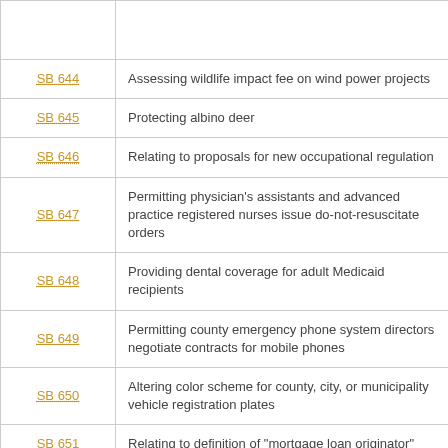| Bill | Description |
| --- | --- |
|  |  |
| SB 644 | Assessing wildlife impact fee on wind power projects |
| SB 645 | Protecting albino deer |
| SB 646 | Relating to proposals for new occupational regulation |
| SB 647 | Permitting physician's assistants and advanced practice registered nurses issue do-not-resuscitate orders |
| SB 648 | Providing dental coverage for adult Medicaid recipients |
| SB 649 | Permitting county emergency phone system directors negotiate contracts for mobile phones |
| SB 650 | Altering color scheme for county, city, or municipality vehicle registration plates |
| SB 651 | Relating to definition of "mortgage loan originator" |